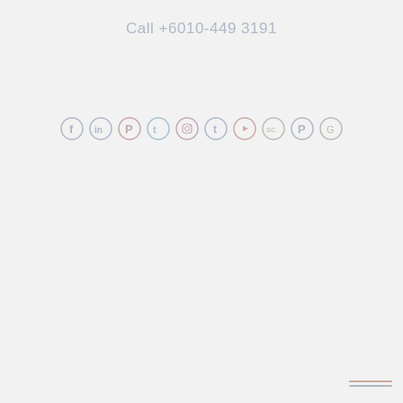Call +6010-449 3191
[Figure (illustration): Row of social media icons: Facebook, LinkedIn, Pinterest, Twitter, Instagram, Tumblr, YouTube, SoundCloud, Pinterest, and another icon, rendered in light muted colors on a light gray background.]